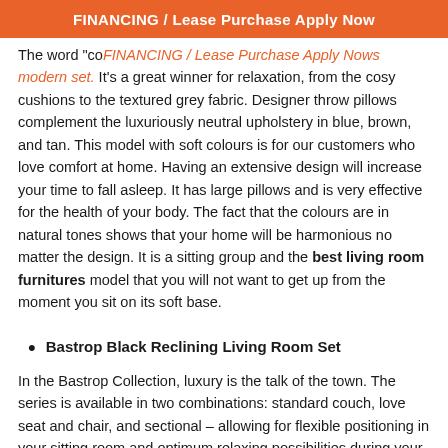FINANCING / Lease Purchase Apply Now
The word "co... modern set. It's a great winner for relaxation, from the cosy cushions to the textured grey fabric. Designer throw pillows complement the luxuriously neutral upholstery in blue, brown, and tan. This model with soft colours is for our customers who love comfort at home. Having an extensive design will increase your time to fall asleep. It has large pillows and is very effective for the health of your body. The fact that the colours are in natural tones shows that your home will be harmonious no matter the design. It is a sitting group and the best living room furnitures model that you will not want to get up from the moment you sit on its soft base.
Bastrop Black Reclining Living Room Set
In the Bastrop Collection, luxury is the talk of the town. The series is available in two combinations: standard couch, love seat and chair, and sectional – allowing for flexible positioning in your sitting room and optimum relaxing possibilities during your leisure. The two available leather gel match covers – black or brown – include contrast welting for profile definition and sophisticated accenting. With a fast